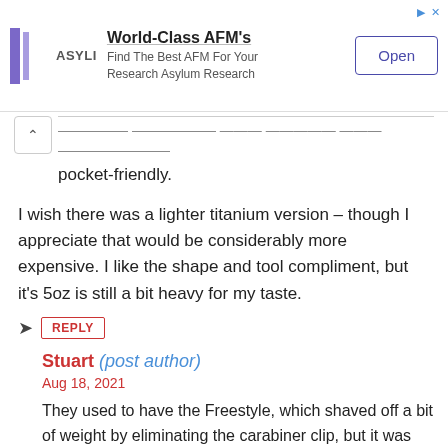[Figure (other): Advertisement banner for Asylum Research AFM products with logo, text 'World-Class AFM's', 'Find The Best AFM For Your Research Asylum Research', and an 'Open' button]
pocket-friendly.
I wish there was a lighter titanium version – though I appreciate that would be considerably more expensive. I like the shape and tool compliment, but it's 5oz is still a bit heavy for my taste.
➤ REPLY
Stuart (post author)
Aug 18, 2021
They used to have the Freestyle, which shaved off a bit of weight by eliminating the carabiner clip, but it was discontinued long ago.
I don't think a titanium version would possible. The